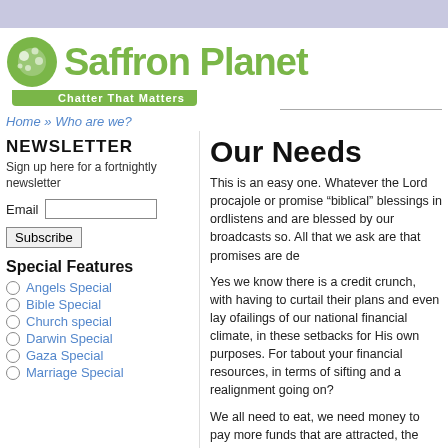[Figure (logo): Saffron Planet logo with green circle and text 'Saffron Planet', tagline 'Chatter That Matters']
Home » Who are we?
NEWSLETTER
Sign up here for a fortnightly newsletter
Email [input field]
Subscribe
Special Features
Angels Special
Bible Special
Church special
Darwin Special
Gaza Special
Marriage Special
Our Needs
This is an easy one. Whatever the Lord pro... cajole or promise "biblical" blessings in ord... listens and are blessed by our broadcasts ... so. All that we ask are that promises are de...
Yes we know there is a credit crunch, with ... having to curtail their plans and even lay o... failings of our national financial climate, in ... these setbacks for His own purposes. For t... about your financial resources, in terms of... sifting and a realignment going on?
We all need to eat, we need money to pay... more funds that are attracted, the higher p... Saffron Planet. At present we can only affo... month editing and publishing the fruits of ...